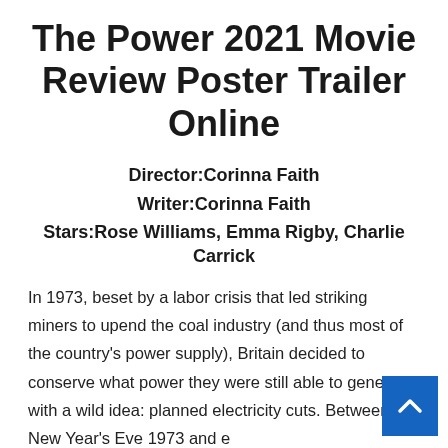The Power 2021 Movie Review Poster Trailer Online
Director:Corinna Faith
Writer:Corinna Faith
Stars:Rose Williams, Emma Rigby, Charlie Carrick
In 1973, beset by a labor crisis that led striking miners to upend the coal industry (and thus most of the country's power supply), Britain decided to conserve what power they were still able to generate with a wild idea: planned electricity cuts. Between New Year's Eve 1973 and early March 1974, the country periodically shut off most power in the dead of night, leaving its cold and scared citizens desperate for morning. First-time feature